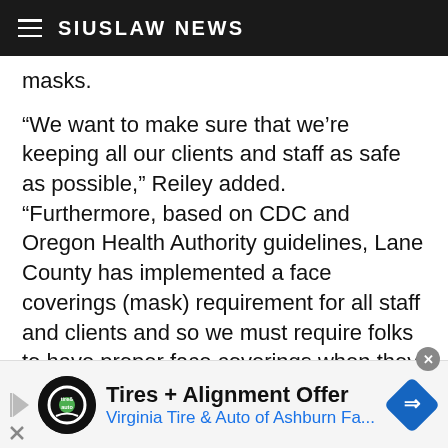SIUSLAW NEWS
masks.
“We want to make sure that we’re keeping all our clients and staff as safe as possible,” Reiley added. “Furthermore, based on CDC and Oregon Health Authority guidelines, Lane County has implemented a face coverings (mask) requirement for all staff and clients and so we must require folks to have proper face coverings when they meet with us.  We’ll have masks available and of course for those who cannot wear masks will be happy to serve them via phone — they just need to call us.”
[Figure (infographic): Advertisement banner: Tires + Alignment Offer — Virginia Tire & Auto of Ashburn Fa...]